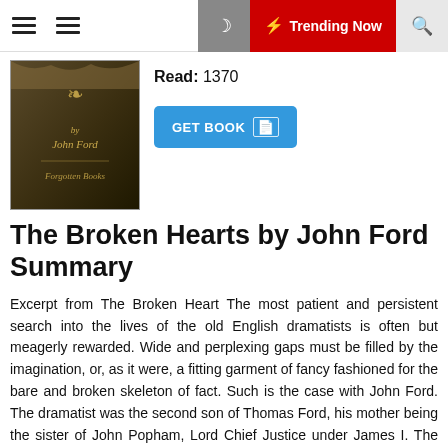Trending Now
[Figure (illustration): Book cover image: dark brown leather-style cover with ornamental design, text 'by John Ford' and 'Forgotten Books' in gold italic lettering]
Read: 1370
GET BOOK
The Broken Hearts by John Ford Summary
Excerpt from The Broken Heart The most patient and persistent search into the lives of the old English dramatists is often but meagerly rewarded. Wide and perplexing gaps must be filled by the imagination, or, as it were, a fitting garment of fancy fashioned for the bare and broken skeleton of fact. Such is the case with John Ford. The dramatist was the second son of Thomas Ford, his mother being the sister of John Popham, Lord Chief Justice under James I. The Ford family was one of good standing in Devonshire, where, at Ilsington, John Ford was baptized on the 17th of April, 1586. What schooling he had was obtained in or near his native town. If he went to either of the great universities he could hardly